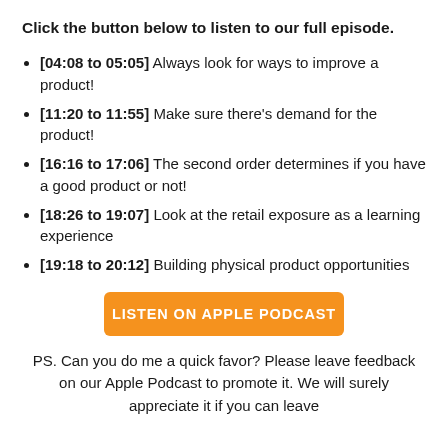Click the button below to listen to our full episode.
[04:08 to 05:05] Always look for ways to improve a product!
[11:20 to 11:55] Make sure there's demand for the product!
[16:16 to 17:06] The second order determines if you have a good product or not!
[18:26 to 19:07] Look at the retail exposure as a learning experience
[19:18 to 20:12] Building physical product opportunities
[Figure (other): Orange button labeled LISTEN ON APPLE PODCAST]
PS. Can you do me a quick favor? Please leave feedback on our Apple Podcast to promote it. We will surely appreciate it if you can leave